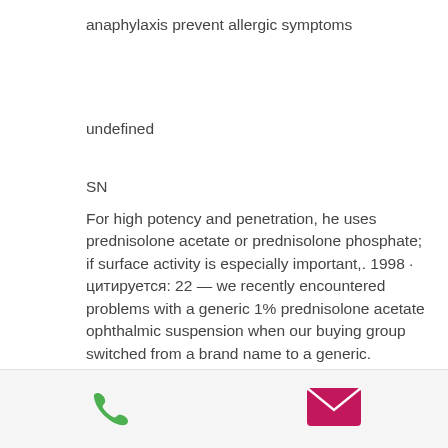anaphylaxis prevent allergic symptoms
undefined
SN
For high potency and penetration, he uses prednisolone acetate or prednisolone phosphate; if surface activity is especially important,. 1998 · цитируется: 22 — we recently encountered problems with a generic 1% prednisolone acetate ophthalmic suspension when our buying group switched from a brand name to a generic. Omnipred (prednisolone acetate) ophthalmic suspension and durezol (difuprednate) ophthalmic emulsion 0. 05% are
[Figure (other): Footer bar with phone icon (green) and email/envelope icon (pink/magenta)]